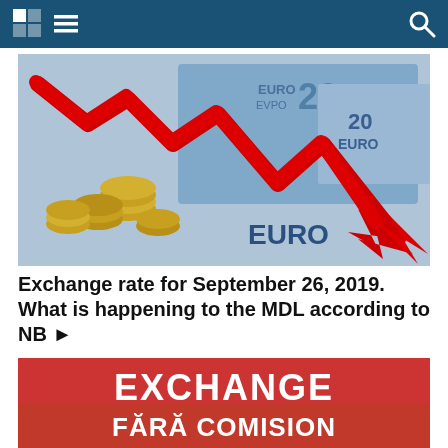Navigation bar with grid icon, menu icon, and search icon
[Figure (photo): Photo of Euro coins and banknotes with a large red downward-trending arrow chart overlaid, showing a declining exchange rate]
Exchange rate for September 26, 2019. What is happening to the MDL according to NB ▶
[Figure (photo): Red sign reading EXCHANGE and below it FĂRĂ COMISION (without commission) in white text]